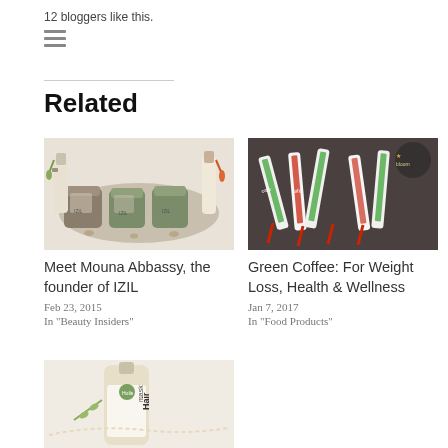12 bloggers like this.
[Figure (other): Hamburger menu icon (three horizontal lines)]
Related
[Figure (photo): Photo of IZIL beauty product jars and spray bottles arranged together]
Meet Mouna Abbassy, the founder of IZIL
Feb 23, 2015
In "Beauty Insiders"
[Figure (photo): Photo of green coffee sachets and nail files on a dark background]
Green Coffee: For Weight Loss, Health & Wellness
Jan 7, 2017
In "Food Products"
[Figure (photo): Partial photo of a hair mask product bottle]